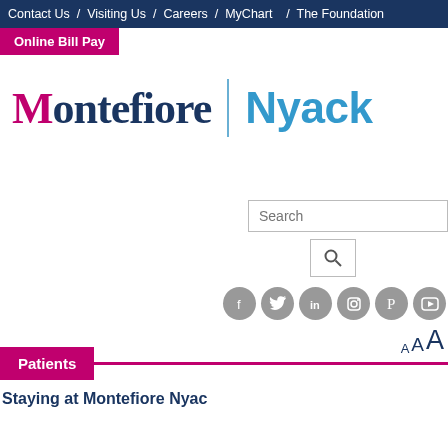Contact Us / Visiting Us / Careers / MyChart / The Foundation
Online Bill Pay
[Figure (logo): Montefiore | Nyack hospital logo with pink M in Montefiore and blue Nyack text separated by a vertical divider line]
Search
AAA font size controls
Patients
Staying at Montefiore Nyack